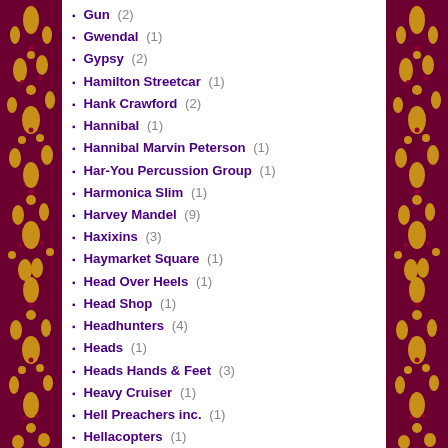Gun (2)
Gwendal (1)
Gypsy (2)
Hamilton Streetcar (1)
Hank Crawford (2)
Hannibal (1)
Hannibal Marvin Peterson (1)
Har-You Percussion Group (1)
Harmonica Slim (1)
Harvey Mandel (9)
Haxixins (3)
Haymarket Square (1)
Head Over Heels (1)
Head Shop (1)
Headhunters (4)
Heads (1)
Heads Hands & Feet (3)
Heavy Cruiser (1)
Hell Preachers inc. (1)
Hellacopters (1)
Herbie Hancock (11)